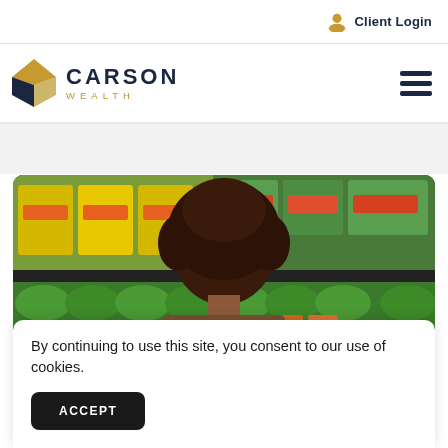Client Login
[Figure (logo): Carson Wealth logo with geometric diamond shape in gold and navy, with CARSON WEALTH text]
[Figure (photo): Person with natural hair viewed from behind, looking at produce shelves in a grocery store with yellow and green packaged vegetables]
By continuing to use this site, you consent to our use of cookies.
ACCEPT